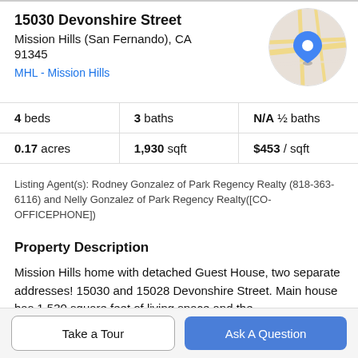15030 Devonshire Street
Mission Hills (San Fernando), CA 91345
MHL - Mission Hills
[Figure (map): Circular map thumbnail showing street map with a blue location pin marker]
| 4 beds | 3 baths | N/A ½ baths |
| 0.17 acres | 1,930 sqft | $453 / sqft |
Listing Agent(s): Rodney Gonzalez of Park Regency Realty (818-363-6116) and Nelly Gonzalez of Park Regency Realty([CO-OFFICEPHONE])
Property Description
Mission Hills home with detached Guest House, two separate addresses! 15030 and 15028 Devonshire Street. Main house has 1,530 square feet of living space and the